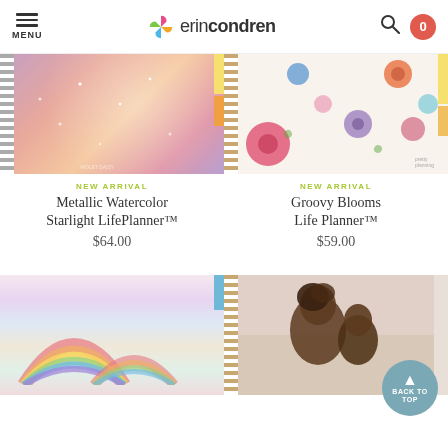MENU | erincondren | Search | Cart 0
[Figure (photo): Metallic Watercolor Starlight LifePlanner spiral-bound planner with pink/purple/gold watercolor cover with sparkle stars]
[Figure (photo): Groovy Blooms Life Planner spiral-bound planner with floral pattern cover on cream background]
NEW ARRIVAL
Metallic Watercolor Starlight LifePlanner™
$64.00
NEW ARRIVAL
Groovy Blooms Life Planner™
$59.00
[Figure (photo): Rainbow arches Life Planner spiral-bound planner with colorful pastel rainbow design]
[Figure (photo): Photo of mother and child, partially visible, spiral-bound planner]